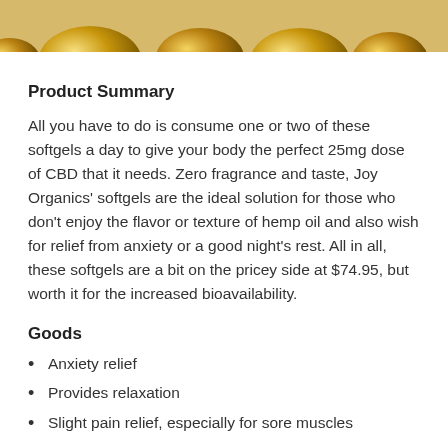[Figure (photo): Top portion of a photo showing gold/yellow softgel capsules against a light beige background, cropped at the top of the page.]
Product Summary
All you have to do is consume one or two of these softgels a day to give your body the perfect 25mg dose of CBD that it needs. Zero fragrance and taste, Joy Organics' softgels are the ideal solution for those who don't enjoy the flavor or texture of hemp oil and also wish for relief from anxiety or a good night's rest. All in all, these softgels are a bit on the pricey side at $74.95, but worth it for the increased bioavailability.
Goods
Anxiety relief
Provides relaxation
Slight pain relief, especially for sore muscles